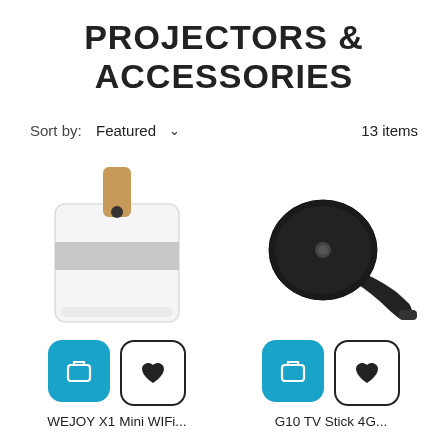PROJECTORS & ACCESSORIES
Sort by:  Featured  ∨  13 items
[Figure (photo): White mini projector in a white bag with a brown leather strap clip]
[Figure (photo): Black Chromecast TV stick dongle with USB-C connector]
WEJOY X1 Mini WIFi...
G10 TV Stick 4G...